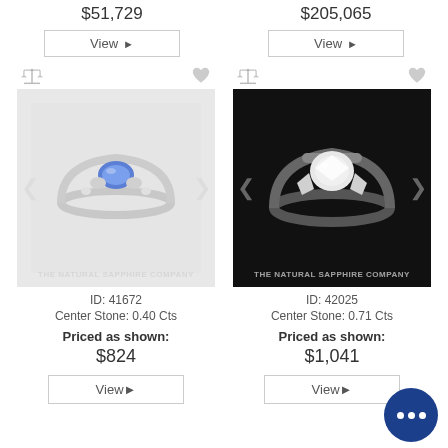$51,729
$205,065
View ▶
View ▶
[Figure (photo): Diamond ring with blue sapphire center stone on white background, The Natural Sapphire Company watermark]
[Figure (photo): Diamond ring with round center stone on black background, The Natural Sapphire Company watermark]
ID: 41672
Center Stone: 0.40 Cts
Priced as shown:
$824
View ▶
ID: 42025
Center Stone: 0.71 Cts
Priced as shown:
$1,041
View ▶